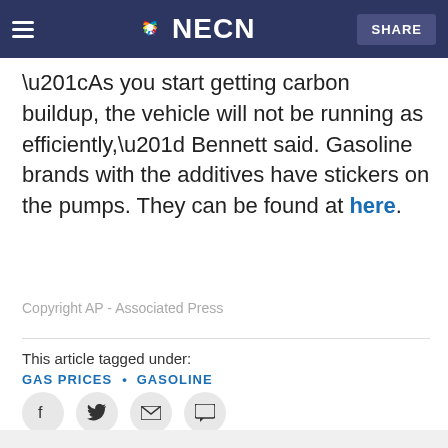NECN — SHARE
“As you start getting carbon buildup, the vehicle will not be running as efficiently,” Bennett said. Gasoline brands with the additives have stickers on the pumps. They can be found at here.
Copyright AP - Associated Press
This article tagged under:
GAS PRICES • GASOLINE